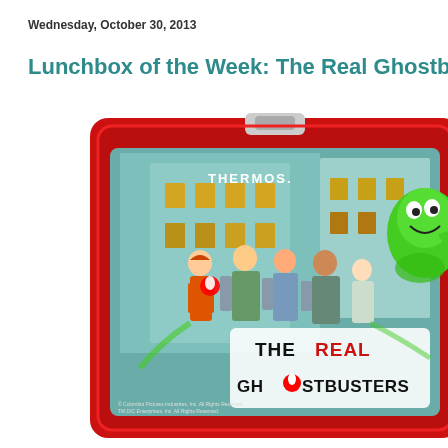Wednesday, October 30, 2013
Lunchbox of the Week: The Real Ghostbus…
[Figure (photo): A red Thermos brand plastic lunchbox featuring The Real Ghostbusters characters. The front panel shows animated characters including the Ghostbusters team and Slimer (a green ghost), along with the Ghostbusters logo and text reading 'THE REAL GHOSTBUSTERS'. The word REAL is in red. The lunchbox has a red plastic exterior with rounded corners.]